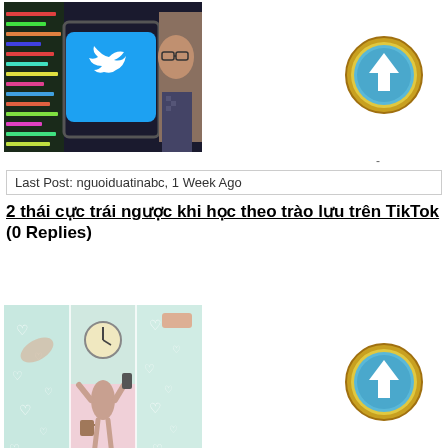[Figure (photo): Twitter logo on phone screen with man in background (news/tech image)]
[Figure (other): Gold upvote/arrow button icon]
Last Post: nguoiduatinabc, 1 Week Ago
2 thái cực trái ngược khi học theo trào lưu trên TikTok (0 Replies)
[Figure (photo): Collage of three images showing people with hearts, multitasking figure, and hearts background]
[Figure (other): Gold upvote/arrow button icon]
Last Post: june04, 1 Week Ago
Tiền điện tử Ethereum tìm cách cải tiến công nghệ giảm thiểu tác hại về môi trườngTiền điện tử Ethereum tìm cách cải tiến công nghệ g (0 Replies)